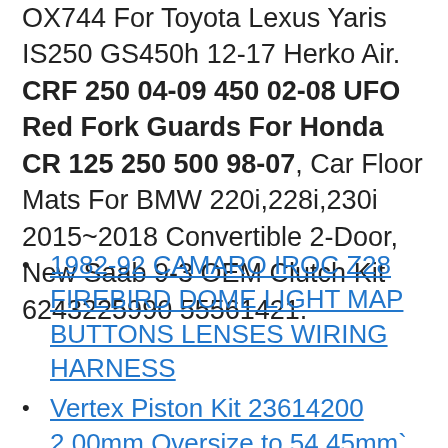OX744 For Toyota Lexus Yaris IS250 GS450h 12-17 Herko Air. CRF 250 04-09 450 02-08 UFO Red Fork Guards For Honda CR 125 250 500 98-07, Car Floor Mats For BMW 220i,228i,230i 2015~2018 Convertible 2-Door, New Saab 9-3 OEM Clutch Kit 6243225990 55561421.
1982-92 CAMARO IROC Z28 FIREBIRD DOME LIGHT MAP BUTTONS LENSES WIRING HARNESS
Vertex Piston Kit 23614200 2.00mm Oversize to 54.45mm`
2X Car Accessories Rear Cylinder Silver Exhaust Pipe Cover Trim for Benz GLC/C/E
Front Brake Reservoir Cover For HONDA CRF250 F/R/RX CRF 450R/L/X